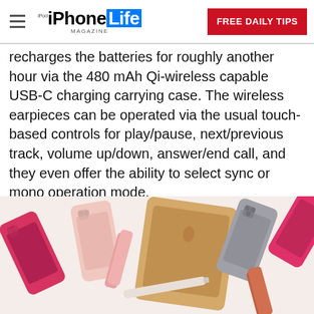iPhone Life Magazine — FREE DAILY TIPS
recharges the batteries for roughly another hour via the 480 mAh Qi-wireless capable USB-C charging carrying case. The wireless earpieces can be operated via the usual touch-based controls for play/pause, next/previous track, volume up/down, answer/end call, and they even offer the ability to select sync or mono operation mode.
[Figure (photo): Flat lay photograph of Apple products including iPhones, iPads, and Apple Watch bands in various colors on a white background.]